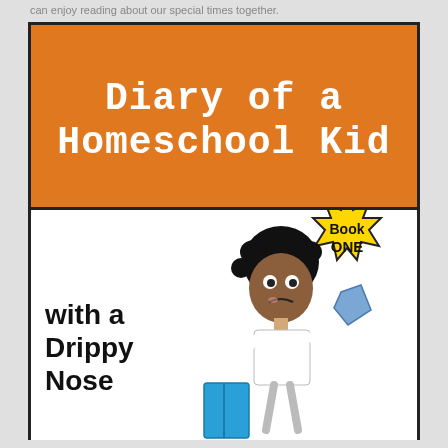can enjoy reading about our special times together.
[Figure (illustration): Book cover illustration for 'Diary of a Homeschool Kid with a Drippy Nose, Book One'. Orange top half with white monospace title text. White bottom half with a cartoon stick-figure child holding a blue book and a blue cloth/tissue, looking sad. A yellow starburst badge reads 'Book ONE'. Left side text reads 'with a Drippy Nose'.]